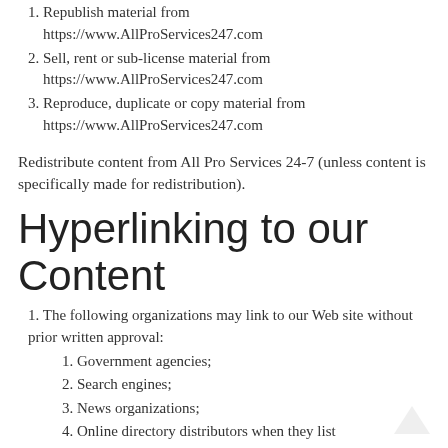1. Republish material from https://www.AllProServices247.com
2. Sell, rent or sub-license material from https://www.AllProServices247.com
3. Reproduce, duplicate or copy material from https://www.AllProServices247.com
Redistribute content from All Pro Services 24-7 (unless content is specifically made for redistribution).
Hyperlinking to our Content
1. The following organizations may link to our Web site without prior written approval:
1. Government agencies;
2. Search engines;
3. News organizations;
4. Online directory distributors when they list